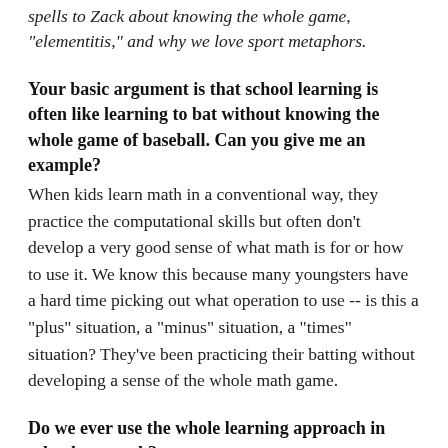spells to Zack about knowing the whole game, "elementitis," and why we love sport metaphors.
Your basic argument is that school learning is often like learning to bat without knowing the whole game of baseball. Can you give me an example?
When kids learn math in a conventional way, they practice the computational skills but often don't develop a very good sense of what math is for or how to use it. We know this because many youngsters have a hard time picking out what operation to use -- is this a "plus" situation, a "minus" situation, a "times" situation? They've been practicing their batting without developing a sense of the whole math game.
Do we ever use the whole learning approach in schools to teach?
We do sometimes teach the whole game, particularly